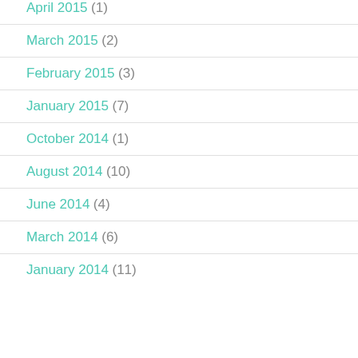April 2015 (1)
March 2015 (2)
February 2015 (3)
January 2015 (7)
October 2014 (1)
August 2014 (10)
June 2014 (4)
March 2014 (6)
January 2014 (11)